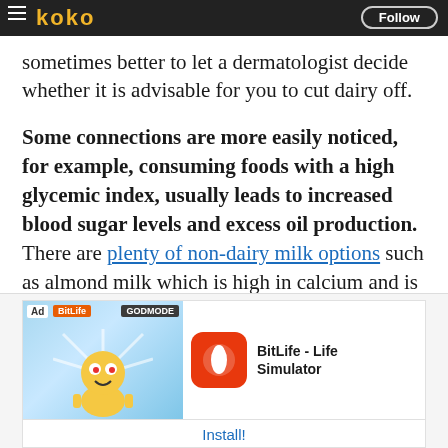koko | Follow
sometimes better to let a dermatologist decide whether it is advisable for you to cut dairy off.
Some connections are more easily noticed, for example, consuming foods with a high glycemic index, usually leads to increased blood sugar levels and excess oil production. There are plenty of non-dairy milk options such as almond milk which is high in calcium and is just as tasty.
[Figure (screenshot): Advertisement for BitLife - Life Simulator app, showing a cartoon character, app icon, title, and Install button.]